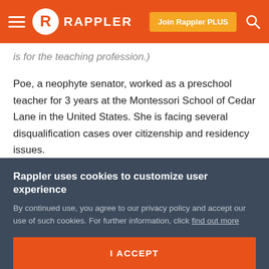Rappler — navigation bar with hamburger menu, Rappler logo, Join Rappler PLUS button, and search icon
is for the teaching profession.)
Poe, a neophyte senator, worked as a preschool teacher for 3 years at the Montessori School of Cedar Lane in the United States. She is facing several disqualification cases over citizenship and residency issues.
“Ang pinag-uusapan karanasan at kakayahan, ‘yun bang nakikita natin, nararamdaman po natin. Kung ano ho ang sinasabi ko [tungkol] kay Governor Jonvic ay ‘yun din ang ipinakikilala ko na pansarili sa inyong mga taga-Cavite,”
Rappler uses cookies to customize user experience
By continued use, you agree to our privacy policy and accept our use of such cookies. For further information, click find out more
I ACCEPT